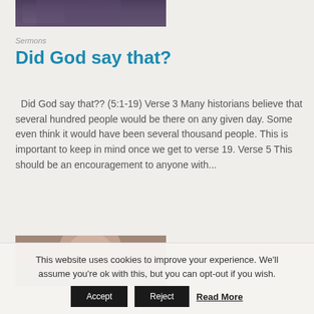[Figure (photo): Partial photo of a person wearing a dark patterned shirt, cropped at top]
Sermons
Did God say that?
Did God say that?? (5:1-19) Verse 3 Many historians believe that several hundred people would be there on any given day. Some even think it would have been several thousand people. This is important to keep in mind once we get to verse 19. Verse 5 This should be an encouragement to anyone with...
[Figure (photo): Partial photo of a child with light hair, cropped at bottom]
This website uses cookies to improve your experience. We'll assume you're ok with this, but you can opt-out if you wish.